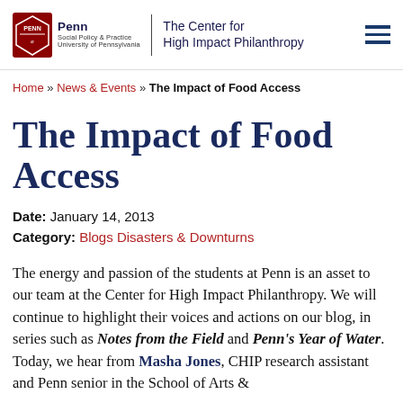Penn Social Policy & Practice University of Pennsylvania | The Center for High Impact Philanthropy
Home » News & Events » The Impact of Food Access
The Impact of Food Access
Date: January 14, 2013
Category: Blogs Disasters & Downturns
The energy and passion of the students at Penn is an asset to our team at the Center for High Impact Philanthropy. We will continue to highlight their voices and actions on our blog, in series such as Notes from the Field and Penn's Year of Water. Today, we hear from Masha Jones, CHIP research assistant and Penn senior in the School of Arts &